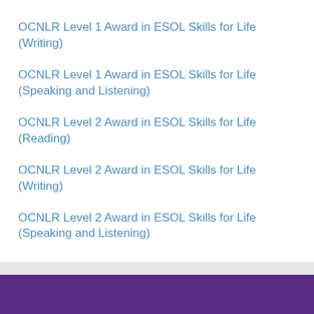OCNLR Level 1 Award in ESOL Skills for Life (Writing)
OCNLR Level 1 Award in ESOL Skills for Life (Speaking and Listening)
OCNLR Level 2 Award in ESOL Skills for Life (Reading)
OCNLR Level 2 Award in ESOL Skills for Life (Writing)
OCNLR Level 2 Award in ESOL Skills for Life (Speaking and Listening)